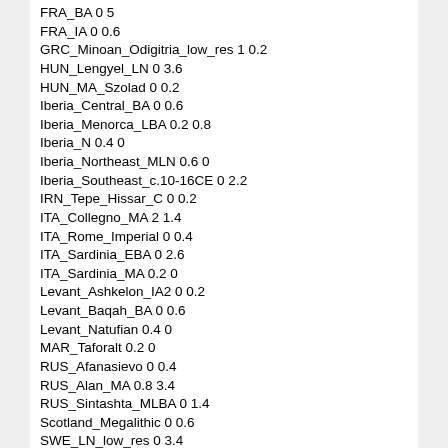FRA_BA 0 5
FRA_IA 0 0.6
GRC_Minoan_Odigitria_low_res 1 0.2
HUN_Lengyel_LN 0 3.6
HUN_MA_Szolad 0 0.2
Iberia_Central_BA 0 0.6
Iberia_Menorca_LBA 0.2 0.8
Iberia_N 0.4 0
Iberia_Northeast_MLN 0.6 0
Iberia_Southeast_c.10-16CE 0 2.2
IRN_Tepe_Hissar_C 0 0.2
ITA_Collegno_MA 2 1.4
ITA_Rome_Imperial 0 0.4
ITA_Sardinia_EBA 0 2.6
ITA_Sardinia_MA 0.2 0
Levant_Ashkelon_IA2 0 0.2
Levant_Baqah_BA 0 0.6
Levant_Natufian 0.4 0
MAR_Taforalt 0.2 0
RUS_Afanasievo 0 0.4
RUS_Alan_MA 0.8 3.4
RUS_Sintashta_MLBA 0 1.4
Scotland_Megalithic 0 0.6
SWE_LN_low_res 0 3.4
SWE_Viking_Age_Sigtuna 1.2 0
TUR_Camlibel_Tarlasi_LC 0 0.6
TUR_Ikiztepe_LC 0 0.4
TUR_Kaman-Kalehoyuk_MLBA 0 0.8
TUR_Tell_Kurdu_EC 0 1.2
UKR_Trypillia 0 9.4
VK2020_DNK_Jutland_VA 0 1
VK2020_DNK_Sealand_VA 85 0
VK2020_England_Dorset_VA 0 6
VK2020_England_Oxford_VA 0.2 0
VK2020_Faroes_EM 4 2.8
VK2020_NOR_Mid_MA 0.8 3.6
VK2020_NOR_South_VA 0 1
VK2020_Scotland_Orkney_VA 2 0